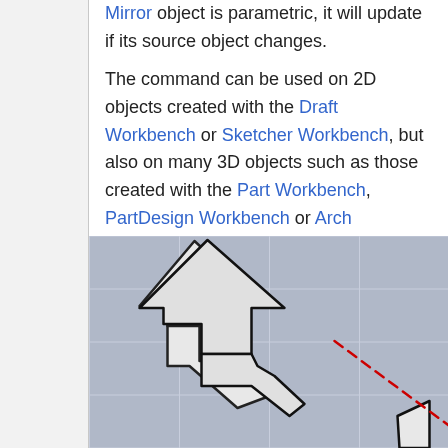Mirror object is parametric, it will update if its source object changes.
The command can be used on 2D objects created with the Draft Workbench or Sketcher Workbench, but also on many 3D objects such as those created with the Part Workbench, PartDesign Workbench or Arch Workbench.
[Figure (illustration): A FreeCAD viewport showing an arrow-shaped 2D object (black outline, light grey fill) on a grey grid background, with a red dashed diagonal mirror axis line and a partial mirrored copy visible at the bottom right.]